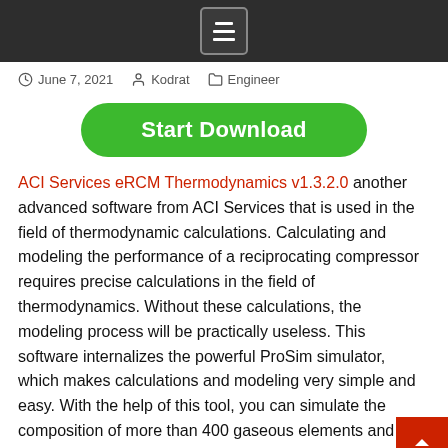[menu icon]
June 7, 2021   Kodrat   Engineer
Start Download
ACI Services eRCM Thermodynamics v1.3.2.0 another advanced software from ACI Services that is used in the field of thermodynamic calculations. Calculating and modeling the performance of a reciprocating compressor requires precise calculations in the field of thermodynamics. Without these calculations, the modeling process will be practically useless. This software internalizes the powerful ProSim simulator, which makes calculations and modeling very simple and easy. With the help of this tool, you can simulate the composition of more than 400 gaseous elements and model the performance of different gases together.